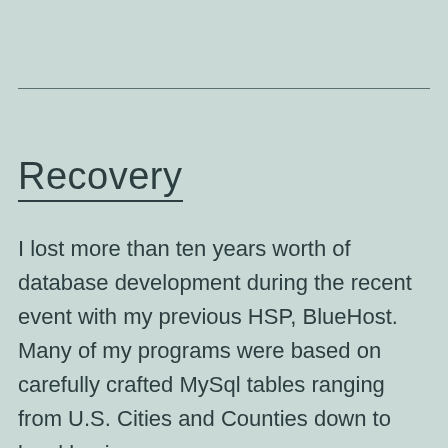Recovery
I lost more than ten years worth of database development during the recent event with my previous HSP, BlueHost. Many of my programs were based on carefully crafted MySql tables ranging from U.S. Cities and Counties down to local businesses.